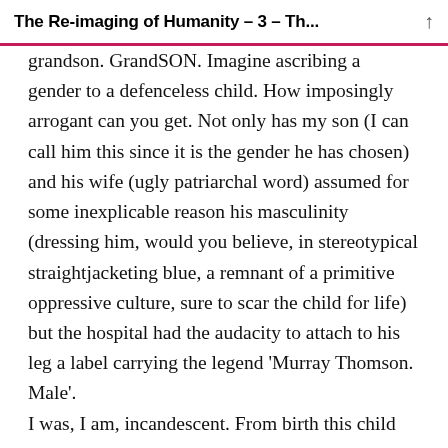The Re-imaging of Humanity – 3 – Th...
grandson. GrandSON. Imagine ascribing a gender to a defenceless child. How imposingly arrogant can you get. Not only has my son (I can call him this since it is the gender he has chosen) and his wife (ugly patriarchal word) assumed for some inexplicable reason his masculinity (dressing him, would you believe, in stereotypical straightjacketing blue, a remnant of a primitive oppressive culture, sure to scar the child for life) but the hospital had the audacity to attach to his leg a label carrying the legend 'Murray Thomson. Male'.
I was, I am, incandescent. From birth this child